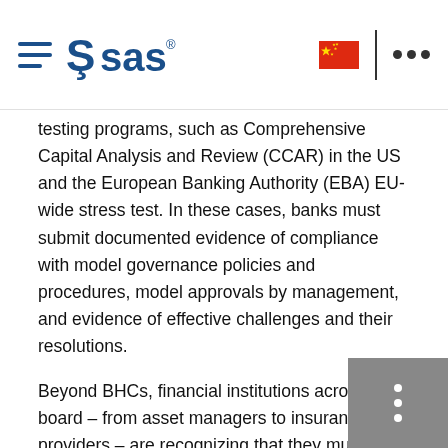SAS logo navigation bar with hamburger menu, Chinese flag, and dots menu
testing programs, such as Comprehensive Capital Analysis and Review (CCAR) in the US and the European Banking Authority (EBA) EU-wide stress test. In these cases, banks must submit documented evidence of compliance with model governance policies and procedures, model approvals by management, and evidence of effective challenges and their resolutions.
Beyond BHCs, financial institutions across the board – from asset managers to insurance providers – are recognizing that they must do a better job managing analytical models at the core of their investment, capital allocation, business performance, risk management and compliance processes.